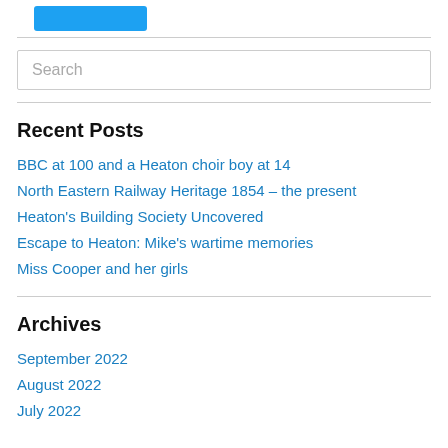[Figure (other): Blue button/badge partially visible at top]
Recent Posts
BBC at 100 and a Heaton choir boy at 14
North Eastern Railway Heritage 1854 – the present
Heaton's Building Society Uncovered
Escape to Heaton: Mike's wartime memories
Miss Cooper and her girls
Archives
September 2022
August 2022
July 2022